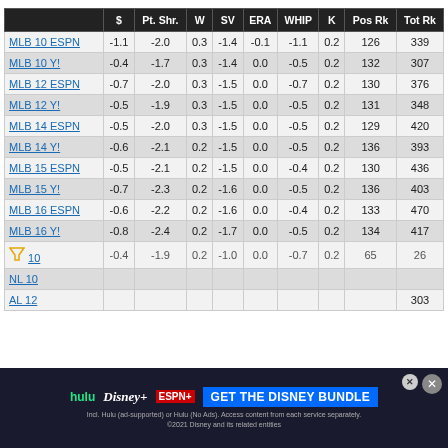|  | $ | Pt. Shr. | W | SV | ERA | WHIP | K | Pos Rk | Tot Rk |
| --- | --- | --- | --- | --- | --- | --- | --- | --- | --- |
| MLB 10 ESPN | -1.1 | -2.0 | 0.3 | -1.4 | -0.1 | -1.1 | 0.2 | 126 | 339 |
| MLB 10 Y! | -0.4 | -1.7 | 0.3 | -1.4 | 0.0 | -0.5 | 0.2 | 132 | 307 |
| MLB 12 ESPN | -0.7 | -2.0 | 0.3 | -1.5 | 0.0 | -0.7 | 0.2 | 130 | 376 |
| MLB 12 Y! | -0.5 | -1.9 | 0.3 | -1.5 | 0.0 | -0.5 | 0.2 | 131 | 348 |
| MLB 14 ESPN | -0.5 | -2.0 | 0.3 | -1.5 | 0.0 | -0.5 | 0.2 | 129 | 420 |
| MLB 14 Y! | -0.6 | -2.1 | 0.2 | -1.5 | 0.0 | -0.5 | 0.2 | 136 | 393 |
| MLB 15 ESPN | -0.5 | -2.1 | 0.2 | -1.5 | 0.0 | -0.4 | 0.2 | 130 | 436 |
| MLB 15 Y! | -0.7 | -2.3 | 0.2 | -1.6 | 0.0 | -0.5 | 0.2 | 136 | 403 |
| MLB 16 ESPN | -0.6 | -2.2 | 0.2 | -1.6 | 0.0 | -0.4 | 0.2 | 133 | 470 |
| MLB 16 Y! | -0.8 | -2.4 | 0.2 | -1.7 | 0.0 | -0.5 | 0.2 | 134 | 417 |
| AL 10 | -0.4 | -1.9 | 0.2 | -1.0 | 0.0 | -0.7 | 0.2 | 65 | 26… |
| NL 10 |  |  |  |  |  |  |  |  |  |
| AL 12 |  |  |  |  |  |  |  |  | 303 |
[Figure (other): Advertisement overlay: Hulu + Disney+ + ESPN+ GET THE DISNEY BUNDLE. Incl. Hulu (ad-supported) or Hulu (No Ads). Access content from each service separately. ©2021 Disney and its related entities]